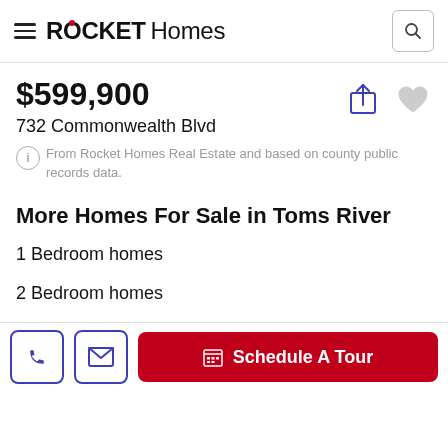ROCKET Homes
$599,900
732 Commonwealth Blvd
From Rocket Homes Real Estate and based on county public records data.
More Homes For Sale in Toms River
1 Bedroom homes
2 Bedroom homes
3 Bedroom homes
4 Bedroom homes
Schedule A Tour